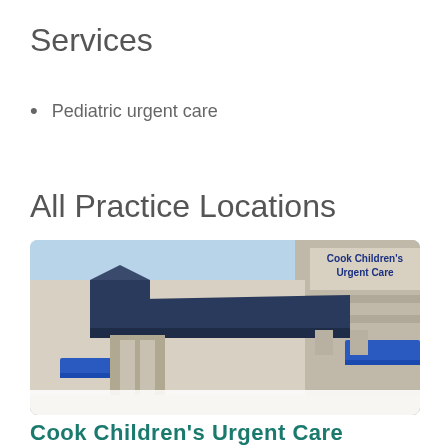Services
Pediatric urgent care
All Practice Locations
[Figure (photo): Exterior photo of a Cook Children's Urgent Care building with blue awnings and signage]
Cook Children's Urgent Care